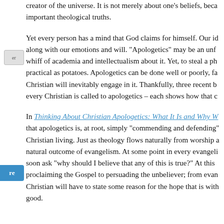creator of the universe. It is not merely about one's beliefs, because important theological truths.
Yet every person has a mind that God claims for himself. Our id along with our emotions and will. “Apologetics” may be an unf whiff of academia and intellectualism about it. Yet, to steal a ph practical as potatoes. Apologetics can be done well or poorly, fa Christian will inevitably engage in it. Thankfully, three recent b every Christian is called to apologetics – each shows how that c
In Thinking About Christian Apologetics: What It Is and Why W that apologetics is, at root, simply “commending and defending” Christian living. Just as theology flows naturally from worship a natural outcome of evangelism. At some point in every evangeli soon ask “why should I believe that any of this is true?” At this proclaiming the Gospel to persuading the unbeliever; from evan Christian will have to state some reason for the hope that is with good.